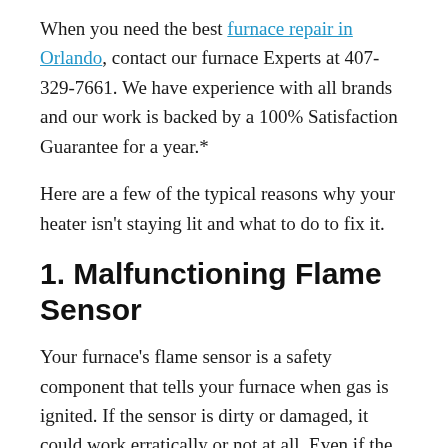When you need the best furnace repair in Orlando, contact our furnace Experts at 407-329-7661. We have experience with all brands and our work is backed by a 100% Satisfaction Guarantee for a year.*
Here are a few of the typical reasons why your heater isn't staying lit and what to do to fix it.
1. Malfunctioning Flame Sensor
Your furnace's flame sensor is a safety component that tells your furnace when gas is ignited. If the sensor is dirty or damaged, it could work erratically or not at all. Even if the sensor is running as normal, incorrect positioning leaves it unable to detect the flame entirely. While you...